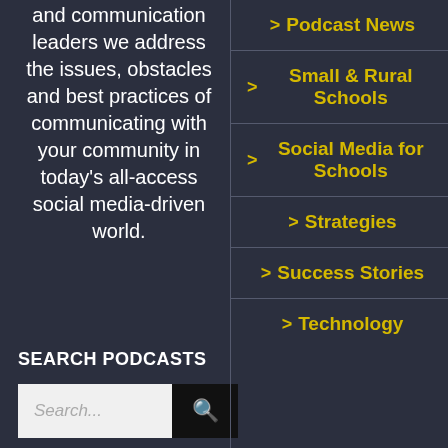and communication leaders we address the issues, obstacles and best practices of communicating with your community in today's all-access social media-driven world.
SEARCH PODCASTS
> Podcast News
> Small & Rural Schools
> Social Media for Schools
> Strategies
> Success Stories
> Technology